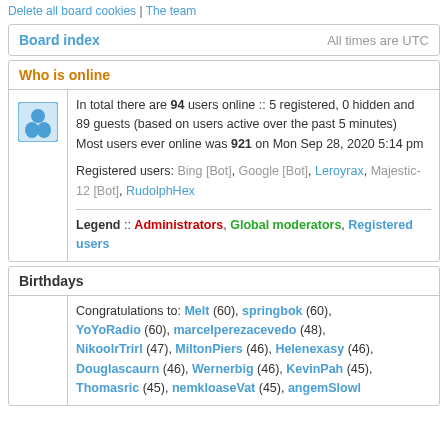Delete all board cookies | The team
Board index | All times are UTC
Who is online
In total there are 94 users online :: 5 registered, 0 hidden and 89 guests (based on users active over the past 5 minutes)
Most users ever online was 921 on Mon Sep 28, 2020 5:14 pm
Registered users: Bing [Bot], Google [Bot], Leroyrax, Majestic-12 [Bot], RudolphHex
Legend :: Administrators, Global moderators, Registered users
Birthdays
Congratulations to: Melt (60), springbok (60), YoYoRadio (60), marcelperezacevedo (48), NikooIrTrirl (47), MiltonPiers (46), Helenexasy (46), Douglascaurn (46), Wernerbig (46), KevinPah (45), Thomasric (45), nemkloaseVat (45), angemSlowl